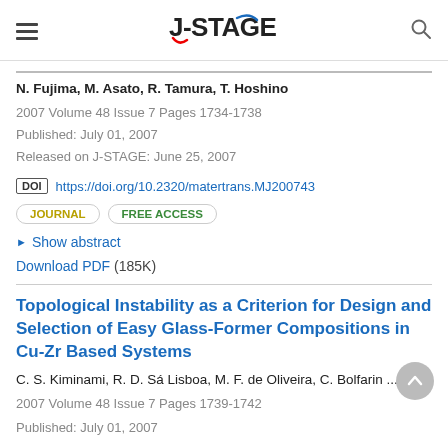J-STAGE
N. Fujima, M. Asato, R. Tamura, T. Hoshino
2007 Volume 48 Issue 7 Pages 1734-1738
Published: July 01, 2007
Released on J-STAGE: June 25, 2007
DOI https://doi.org/10.2320/matertrans.MJ200743
JOURNAL  FREE ACCESS
▶ Show abstract
Download PDF (185K)
Topological Instability as a Criterion for Design and Selection of Easy Glass-Former Compositions in Cu-Zr Based Systems
C. S. Kiminami, R. D. Sá Lisboa, M. F. de Oliveira, C. Bolfarin ...
2007 Volume 48 Issue 7 Pages 1739-1742
Published: July 01, 2007